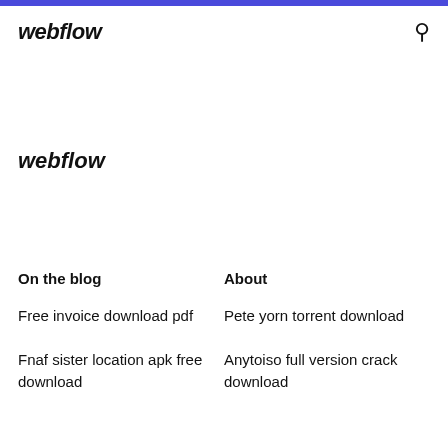webflow
webflow
On the blog
About
Free invoice download pdf
Pete yorn torrent download
Fnaf sister location apk free download
Anytoiso full version crack download